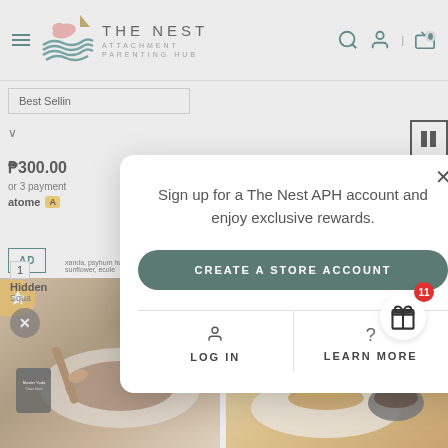[Figure (screenshot): Website header of The Nest Attachment Parenting Hub with hamburger menu, logo, search, account, and cart icons]
Best Sellin
₱300.00
or 3 payment
atome A
AD
1
Hidden
Squa
xanda, psyhum husk, xachan gum, sunflower, ecole
[Figure (photo): Food product photo showing brown powder/spice and wooden spoon]
[Figure (photo): Food product photo showing stacked golden brown cookies/nuggets with green herbs and dipping sauce]
Sign up for a The Nest APH account and enjoy exclusive rewards.
CREATE A STORE ACCOUNT
LOG IN
LEARN MORE
11